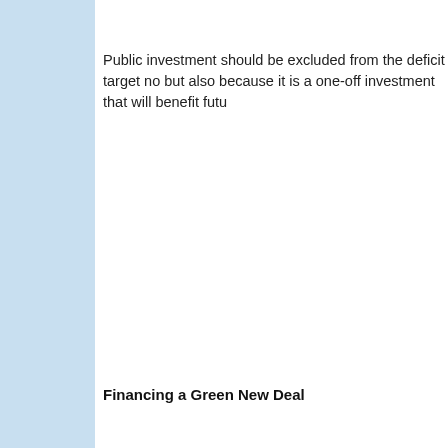Public investment should be excluded from the deficit target no but also because it is a one-off investment that will benefit futu
Financing a Green New Deal
This discussion is important in thinking about financing spendin energy production green is a clear example of a one-off investm reason some economists have understood why government de economy. As I explain in the link, there is a limit to how much th (the current generation) should pay. But as I said here, no fisca vital work to green the economy.
Why not run fiscal policy like monetary policy
Interest rates are decided by central banks, or committees inclu No one is suggesting a similar committee of experts can enact l Chadha suggests here - set the overall deficit any Chancellor h committee, perhaps part of an enhanced OBR, could work out v some long term objective for the debt to GDP ratio. No need fo
Inflation targeting works because everyone wants low inflation, that how you get it is an issue that involves a great deal of expe the economy works. Aggregate fiscal policy is not like that. The